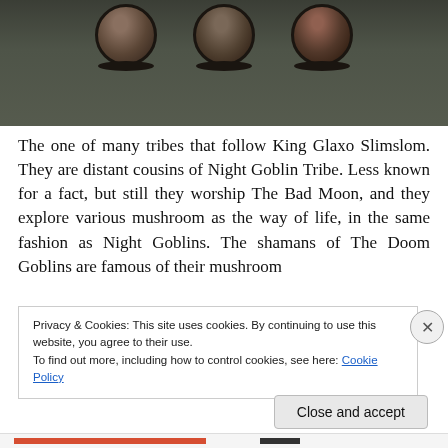[Figure (photo): Photograph of painted tabletop miniature figurines (goblins) on dark bases, viewed from above against a dark grey-green background. Three miniatures are visible across the top.]
The one of many tribes that follow King Glaxo Slimslom. They are distant cousins of Night Goblin Tribe. Less known for a fact, but still they worship The Bad Moon, and they explore various mushroom as the way of life, in the same fashion as Night Goblins. The shamans of The Doom Goblins are famous of their mushroom
Privacy & Cookies: This site uses cookies. By continuing to use this website, you agree to their use.
To find out more, including how to control cookies, see here: Cookie Policy
Close and accept